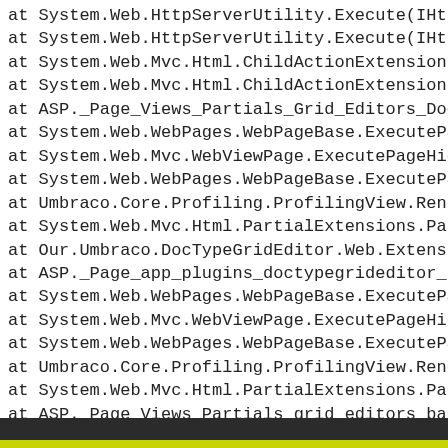at System.Web.HttpServerUtility.Execute(IHtt
at System.Web.HttpServerUtility.Execute(IHtt
at System.Web.Mvc.Html.ChildActionExtensions
at System.Web.Mvc.Html.ChildActionExtensions
at ASP._Page_Views_Partials_Grid_Editors_Doc
at System.Web.WebPages.WebPageBase.ExecutePa
at System.Web.Mvc.WebViewPage.ExecutePageHie
at System.Web.WebPages.WebPageBase.ExecutePa
at Umbraco.Core.Profiling.ProfilingView.Rend
at System.Web.Mvc.Html.PartialExtensions.Par
at Our.Umbraco.DocTypeGridEditor.Web.Extensi
at ASP._Page_app_plugins_doctypegrideditor_r
at System.Web.WebPages.WebPageBase.ExecutePa
at System.Web.Mvc.WebViewPage.ExecutePageHie
at System.Web.WebPages.WebPageBase.ExecutePa
at Umbraco.Core.Profiling.ProfilingView.Rend
at System.Web.Mvc.Html.PartialExtensions.Par
at ASP._Page_Views_Partials_grid_editors_bas